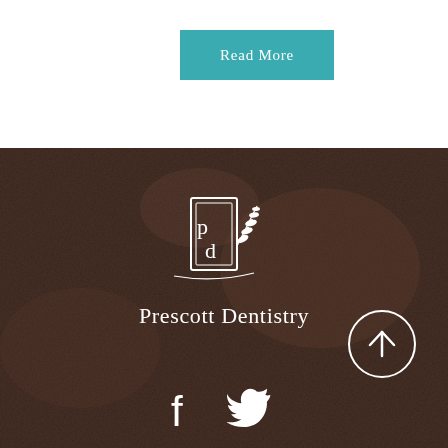Read More
[Figure (logo): Prescott Dentistry logo — stylized PD monogram in a rectangular frame with a wheat/olive branch, above the text 'Prescott Dentistry' in white serif font on dark brown textured background]
[Figure (other): Scroll-to-top circular button with upward arrow icon]
[Figure (other): Social media icons: Facebook and Twitter in white on dark brown background]